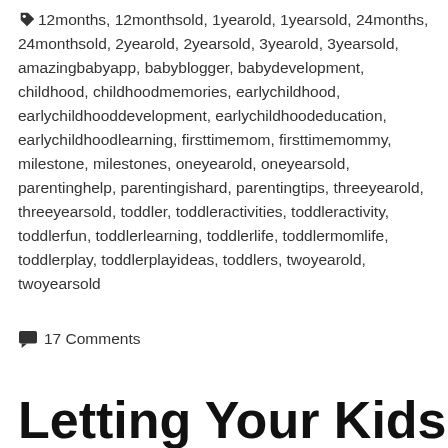12months, 12monthsold, 1yearold, 1yearsold, 24months, 24monthsold, 2yearold, 2yearsold, 3yearold, 3yearsold, amazingbabyapp, babyblogger, babydevelopment, childhood, childhoodmemories, earlychildhood, earlychildhooddevelopment, earlychildhoodeducation, earlychildhoodlearning, firsttimemom, firsttimemommy, milestone, milestones, oneyearold, oneyearsold, parentinghelp, parentingishard, parentingtips, threeyearold, threeyearsold, toddler, toddleractivities, toddleractivity, toddlerfun, toddlerlearning, toddlerlife, toddlermomlife, toddlerplay, toddlerplayideas, toddlers, twoyearold, twoyearsold
17 Comments
Letting Your Kids in the